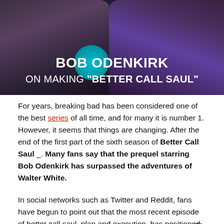[Figure (photo): Photo of Bob Odenkirk and another person with overlay text reading 'BOB ODENKIRK ON MAKING BETTER CALL SAUL', dark background with teal circle element]
For years, breaking bad has been considered one of the best series of all time, and for many it is number 1. However, it seems that things are changing. After the end of the first part of the sixth season of Better Call Saul _. Many fans say that the prequel starring Bob Odenkirk has surpassed the adventures of Walter White.
In social networks such as Twitter and Reddit, fans have begun to point out that the most recent episode of better call saul, plan and execution, has positioned itself as one